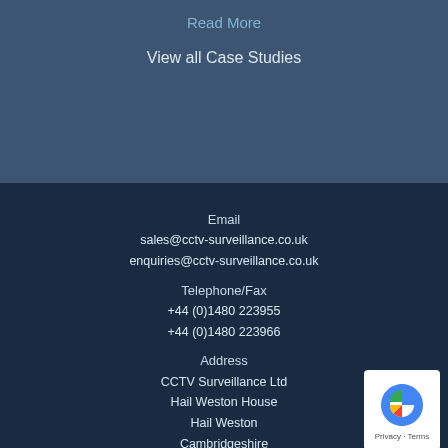Read More
View all Case Studies
Email
sales@cctv-surveillance.co.uk
enquiries@cctv-surveillance.co.uk
Telephone/Fax
+44 (0)1480 223955
+44 (0)1480 223966
Address
CCTV Surveillance Ltd
Hail Weston House
Hail Weston
Cambridgeshire
PE19 5JY, UK
Car Park Barriers
Access Control
[Figure (other): reCAPTCHA badge with Privacy - Terms text]